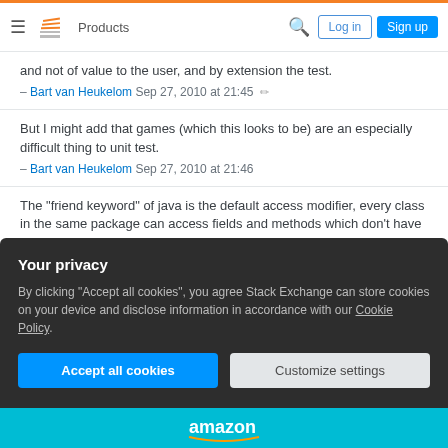Stack Overflow — Products Log in Sign up
and not of value to the user, and by extension the test.
– Bart van Heukelom Sep 27, 2010 at 21:45
But I might add that games (which this looks to be) are an especially difficult thing to unit test.
– Bart van Heukelom Sep 27, 2010 at 21:46
The "friend keyword" of java is the default access modifier, every class in the same package can access fields and methods which don't have an access modifier (no public, private or protected). Tests can access these fields as long as they use the same package structure, so you can keep these details private to the package. – josefx Sep 27, 2010 at 21:59
Your privacy
By clicking "Accept all cookies", you agree Stack Exchange can store cookies on your device and disclose information in accordance with our Cookie Policy.